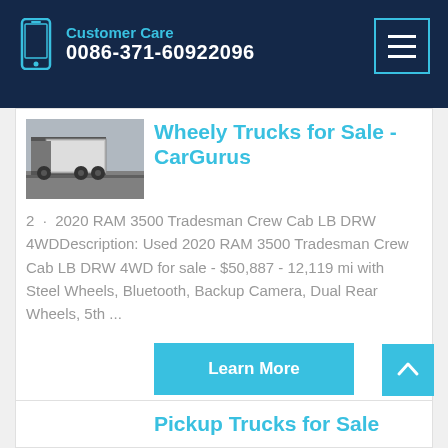Customer Care 0086-371-60922096
[Figure (photo): Truck driving on road, rear view, semi-trailer]
Wheely Trucks for Sale - CarGurus
2 · 2020 RAM 3500 Tradesman Crew Cab LB DRW 4WDDescription: Used 2020 RAM 3500 Tradesman Crew Cab LB DRW 4WD for sale - $50,887 - 12,119 mi with Steel Wheels, Bluetooth, Backup Camera, Dual Rear Wheels, 5th ...
Learn More
Pickup Trucks for Sale